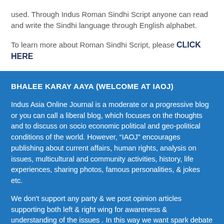used. Through Indus Roman Sindhi Script anyone can read and write the Sindhi language through English alphabet.
To learn more about Roman Sindhi Script, please CLICK HERE
BHALEE KARAY AAYA (WELCOME AT IAOJ)
Indus Asia Online Journal is a moderate or a progressive blog or you can call a liberal blog, which focuses on the thoughts and to discuss on socio economic political and geo-political conditions of the world. However, “IAOJ” encourages publishing about current affairs, human rights, analysis on issues, multicultural and community activities, history, life experiences, sharing photos, famous personalities, & jokes etc.
We don't support any party & we post opinion articles supporting both left & right wing for awareness & understanding of the issues . In this way we want spark debate & discussion. Indus Asia Online Journal is not here to push any particular political agenda or blindly support any party.